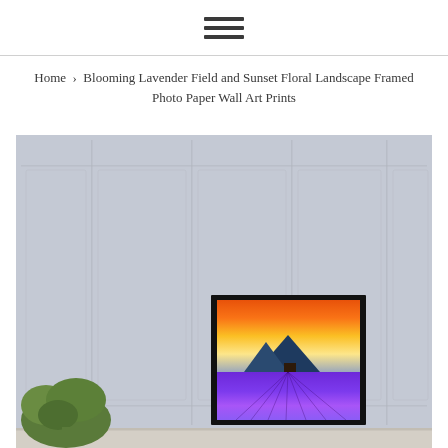☰ (hamburger menu icon)
Home › Blooming Lavender Field and Sunset Floral Landscape Framed Photo Paper Wall Art Prints
[Figure (photo): A framed print showing a blooming lavender field with a mountain silhouette against a vivid orange and yellow sunset sky, displayed on a white table against a light grey panelled wall, with a green plant visible to the left.]